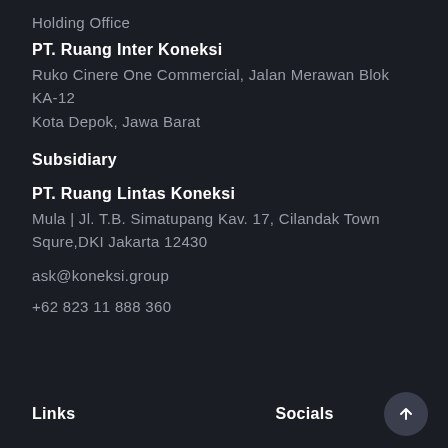Holding Office
PT. Ruang Inter Koneksi
Ruko Cinere One Commercial, Jalan Merawan Blok KA-12
Kota Depok, Jawa Barat
Subsidiary
PT. Ruang Lintas Koneksi
Mula | Jl. T.B. Simatupang Kav. 17, Cilandak Town Squre,DKI Jakarta 12430
ask@koneksi.group
+62 823 11 888 360
Links   Socials